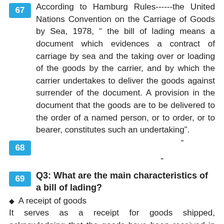67 According to Hamburg Rules------the United Nations Convention on the Carriage of Goods by Sea, 1978, “ the bill of lading means a document which evidences a contract of carriage by sea and the taking over or loading of the goods by the carrier, and by which the carrier undertakes to deliver the goods against surrender of the document. A provision in the document that the goods are to be delivered to the order of a named person, or to order, or to bearer, constitutes such an undertaking”.
68 “
69 Q3: What are the main characteristics of a bill of lading?
◆ A receipt of goods
It serves as a receipt for goods shipped, acknowledging that the goods have been received in said quality, quantity and in apparent good order for the purpose of loading on board a vessel.
◆ A contract of carriage
It is a contract of carriage made between the carrier and the shipper. The detailed provisions will be made on the reverse